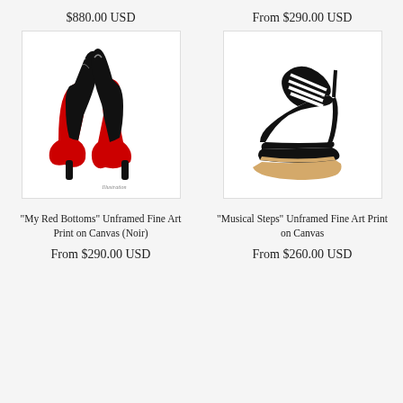$880.00 USD
From $290.00 USD
[Figure (illustration): Illustration of two black high heel shoes (Louboutin style) viewed from behind, showing red soles]
[Figure (illustration): Illustration of a black platform high heel shoe with black and white piano key stripe pattern on upper]
"My Red Bottoms" Unframed Fine Art Print on Canvas (Noir)
"Musical Steps" Unframed Fine Art Print on Canvas
From $290.00 USD
From $260.00 USD